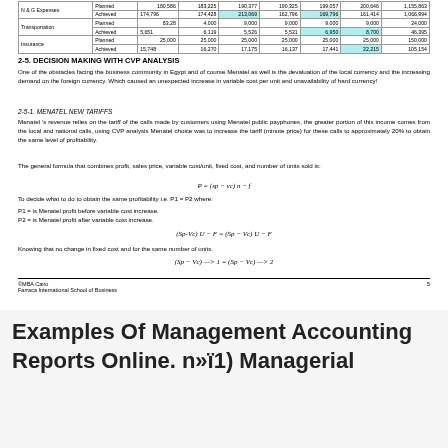|  |  | col1 | col2 | col3 | col4 | col5 | col6 | col7 |
| --- | --- | --- | --- | --- | --- | --- | --- | --- |
| N & G Expenses | Planned | 180,586 | 183,225 | 190,377 | 190,325 | 199,057 | 200,646 | 1,155,863 |
|  | Achieved | 174,796 | 174,428 | 213,069 | 162,796 | 169,796 | 161,414 | 1,066,994 |
| Transportation | Planned | 83,28 | 4,000 | 9,000 | 9,000 | 9,000 | 9,000 | 24,000 |
|  | Achieved | 5,651 | 6,119 | 5,526 | 5,521 | 6,950 | 8,700 | 46,395 |
| Insurance | Planned | 25,000 | 25,000 | 25,000 | 25,000 | 25,000 | 25,000 | 150,000 |
|  | Achieved | 15,748 | 16,270 | 17,175 | 16,137 | 17,441 | 22,215 | 105,154 |
2-5. DECISION MAKING WITH CVP ANALYSIS
One of the obstacles facing the business community in Egypt and of course Menatel as well is the devaluation of the local currency and the increasing demand on the foreign currency. Which caused an unexpected increase in variable cost per unit and unavailability of hard currency!
2-5-1. MENATEL NEW TARIFFS
Menatel 's revenue relies on the tariff of the calls made by customers using Menatel public payphones, the greater portion of this income comes from the local and national calls, using CVP analysis Menatel choice was to increase the tariff (minute price) for these calls to approximately 20% to obtain the same level of profitability.
The general formula that combines profit, sales price, variable cost/unit, fixed cost, and number of units sold is:
To decide what to do to obtain the same profitability i.e. P1 = P2 where:
P1 = is Menatel profit before variable cost increase.
P2 = is Menatel profit after variable cost increase.
Knowing that no change in fixed cost and for the same number of units.
©MBA Cairo
Farraca International School of Business    5